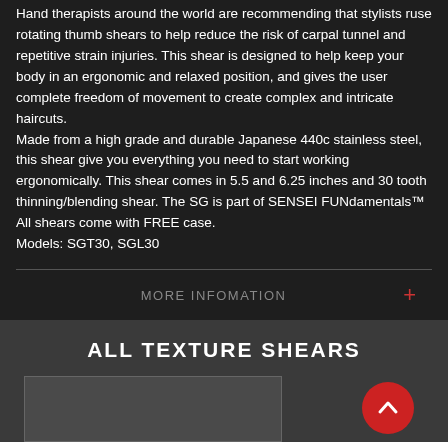Hand therapists around the world are recommending that stylists ruse rotating thumb shears to help reduce the risk of carpal tunnel and repetitive strain injuries. This shear is designed to help keep your body in an ergonomic and relaxed position, and gives the user complete freedom of movement to create complex and intricate haircuts.
Made from a high grade and durable Japanese 440c stainless steel, this shear give you everything you need to start working ergonomically. This shear comes in 5.5 and 6.25 inches and 30 tooth thinning/blending shear. The SG is part of SENSEI FUNdamentals™
All shears come with FREE case.
Models: SGT30, SGL30
MORE INFOMATION
ALL TEXTURE SHEARS
[Figure (other): Gray product image placeholder box]